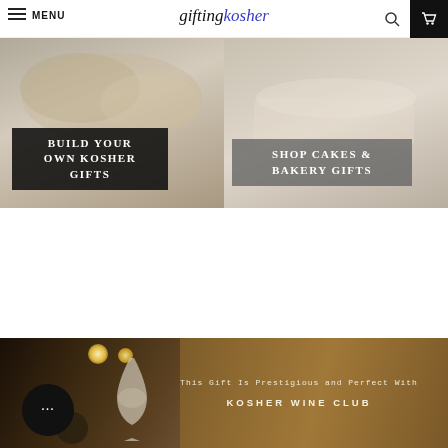MENU  giftingkosher
[Figure (photo): Food photo on left showing baked goods with black label overlay reading BUILD YOUR OWN KOSHER GIFTS]
[Figure (photo): Food photo on right showing cake/bakery items with gray label overlay reading SHOP CAKES & BAKERY GIFTS]
[Figure (photo): Bottom banner with warm golden-brown background showing candles, wine glass, and chat bubble overlay. Text: This Gift Is Prestigious and Perfect With KOSHER WINE CLUB]
This Gift Is Prestigious and Perfect With
KOSHER WINE CLUB